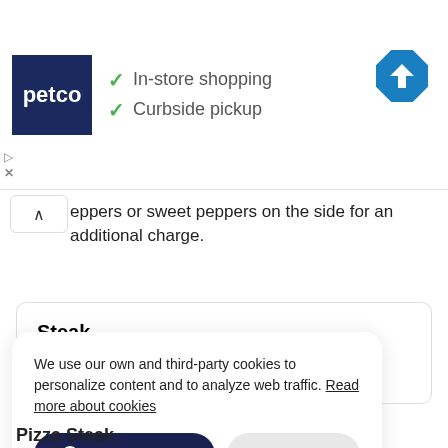[Figure (screenshot): Petco advertisement banner showing logo with 'In-store shopping' and 'Curbside pickup' with checkmarks, and a blue navigation arrow icon on the right]
peppers or sweet peppers on the side for an additional charge.
Steak

12.35 USD
We use our own and third-party cookies to personalize content and to analyze web traffic. Read more about cookies
Accept cookies   Reject
Pizza Steak